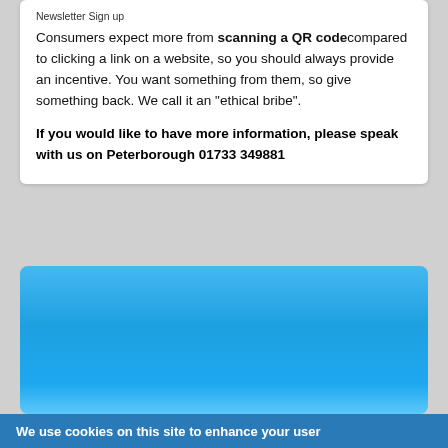Newsletter Sign up
Consumers expect more from scanning a QR code compared to clicking a link on a website, so you should always provide an incentive. You want something from them, so give something back. We call it an “ethical bribe”.
If you would like to have more information, please speak with us on Peterborough 01733 349881
[Figure (photo): Blue gradient background rectangle, representing a banner or image placeholder area]
[Figure (logo): Logos strip: Investor in People logo (green arc), a text logo partially visible, a black corner/triangle logo, and a green rounded square logo with white arc]
We use cookies on this site to enhance your user